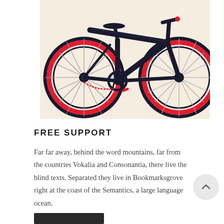[Figure (photo): Close-up photograph of a dark navy blue bicycle with bright red/pink wheel rims against a cream/off-white background. The bicycle frame, spokes, pedals, chain, and handlebars are visible. The red rims are a distinctive styling feature.]
FREE SUPPORT
Far far away, behind the word mountains, far from the countries Vokalia and Consonantia, there live the blind texts. Separated they live in Bookmarksgrove right at the coast of the Semantics, a large language ocean.